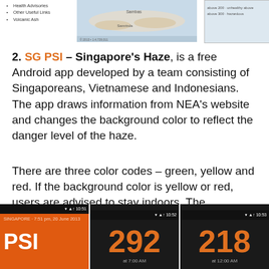[Figure (screenshot): Top strip showing a partial screenshot of a haze/volcano information webpage with a bullet list (Health Advisories, Other Useful Links, Volcanic Ash), a map of Indonesia/surrounding region, and a right-side panel.]
2. SG PSI – Singapore's Haze, is a free Android app developed by a team consisting of Singaporeans, Vietnamese and Indonesians. The app draws information from NEA's website and changes the background color to reflect the danger level of the haze.
There are three color codes – green, yellow and red. If the background color is yellow or red, users are advised to stay indoors. The developers deliberately placed a big font for the PSI reading for easy viewing. You can download the app here.
[Figure (screenshot): Three Android app screenshots of SG PSI app: first shows orange background with 'PSI' text and timestamp '7:51 pm, 20 June 2013', second shows dark background with large orange '292' reading, third shows dark background with large orange '218' reading labeled 'at 12:00 AM'.]